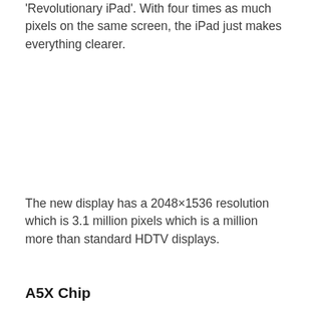'Revolutionary iPad'. With four times as much pixels on the same screen, the iPad just makes everything clearer.
The new display has a 2048×1536 resolution which is 3.1 million pixels which is a million more than standard HDTV displays.
A5X Chip